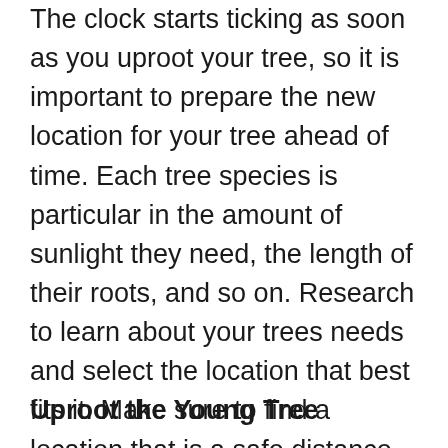The clock starts ticking as soon as you uproot your tree, so it is important to prepare the new location for your tree ahead of time. Each tree species is particular in the amount of sunlight they need, the length of their roots, and so on. Research to learn about your trees needs and select the location that best fits it. Make sure to find a location that is a safe distance away from the utility lines, septic tank, sewer line, concrete foundation, and other structures. Once you have selected your location in advance, dig a hole about twice the size of the trees root ball.
Uproot the Young Tree